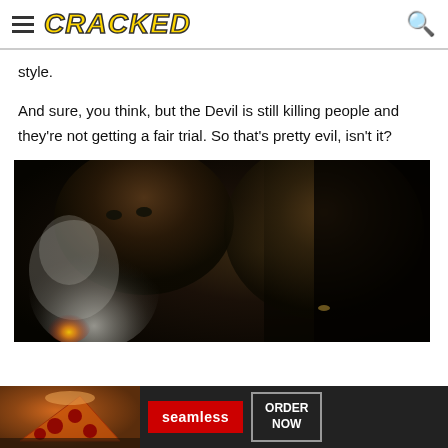CRACKED
style.
And sure, you think, but the Devil is still killing people and they're not getting a fair trial. So that's pretty evil, isn't it?
[Figure (photo): Dark cinematic scene showing shadowy figures, one appears to be smoking with smoke/fire visible on the left side, set against a very dark background]
[Figure (screenshot): Advertisement banner for Seamless food delivery service showing pizza image on left, Seamless logo in red box in center, and ORDER NOW button on right]